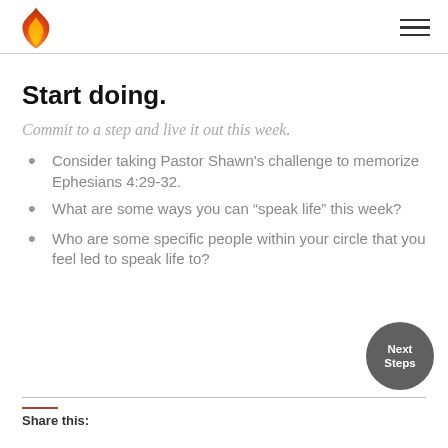Start doing.
Commit to a step and live it out this week.
Consider taking Pastor Shawn's challenge to memorize Ephesians 4:29-32.
What are some ways you can “speak life” this week?
Who are some specific people within your circle that you feel led to speak life to?
Share this: